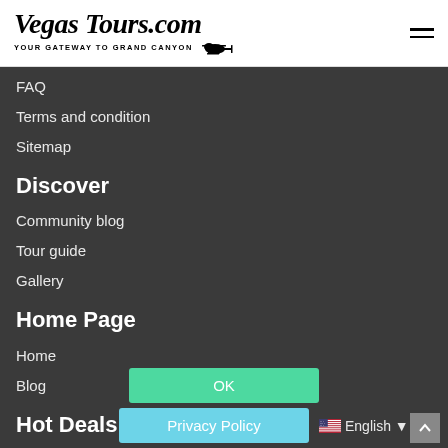VegasTours.com — Your Gateway To Grand Canyon
FAQ
Terms and condition
Sitemap
Discover
Community blog
Tour guide
Gallery
Home Page
Home
Blog
Hot Deals
Under $150.00 Tours
Helicopter Tours
OK
Privacy Policy
English ▼